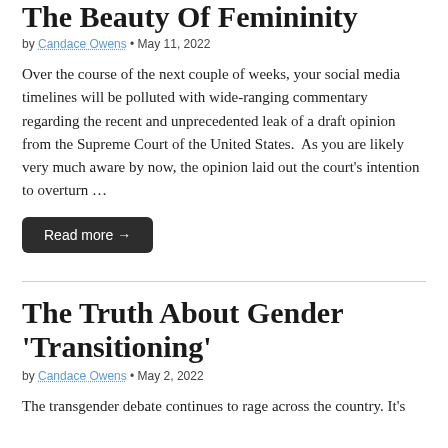The Beauty Of Femininity
by Candace Owens • May 11, 2022
Over the course of the next couple of weeks, your social media timelines will be polluted with wide-ranging commentary regarding the recent and unprecedented leak of a draft opinion from the Supreme Court of the United States.  As you are likely very much aware by now, the opinion laid out the court's intention to overturn …
Read more →
The Truth About Gender 'Transitioning'
by Candace Owens • May 2, 2022
The transgender debate continues to rage across the country. It's